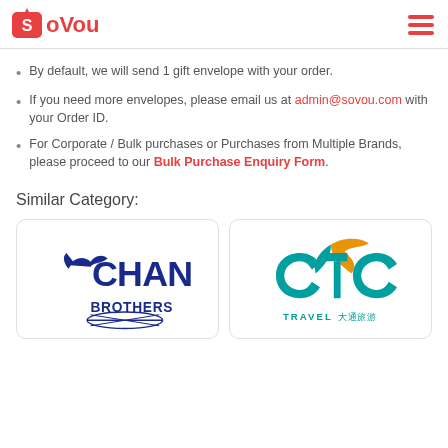SoVou
By default, we will send 1 gift envelope with your order.
If you need more envelopes, please email us at admin@sovou.com with your Order ID.
For Corporate / Bulk purchases or Purchases from Multiple Brands, please proceed to our Bulk Purchase Enquiry Form.
Similar Category:
[Figure (logo): Chan Brothers Travel logo - blue globe with bird and text CHAN BROTHERS]
[Figure (logo): CTC Travel logo - teal bird with orange accent and text TRAVEL 大通旅游]